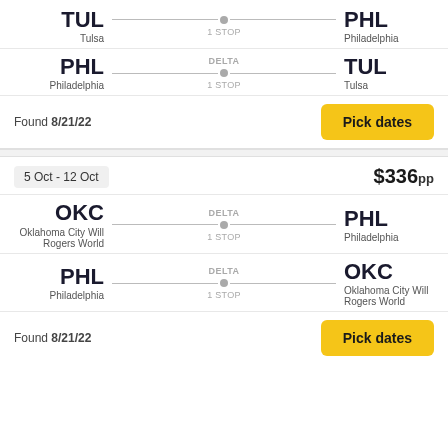TUL Tulsa — 1 STOP (DELTA) — PHL Philadelphia (partial, top)
PHL Philadelphia — DELTA — 1 STOP — TUL Tulsa
Found 8/21/22
Pick dates
5 Oct - 12 Oct
$336pp
OKC Oklahoma City Will Rogers World — DELTA — 1 STOP — PHL Philadelphia
PHL Philadelphia — DELTA — 1 STOP — OKC Oklahoma City Will Rogers World
Found 8/21/22
Pick dates